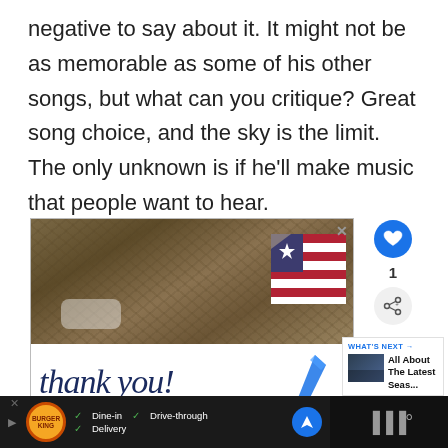negative to say about it. It might not be as memorable as some of his other songs, but what can you critique? Great song choice, and the sky is the limit. The only unknown is if he'll make music that people want to hear.
[Figure (photo): Advertisement showing military personnel in camouflage uniforms and masks, with an American flag graphic and 'thank you!' handwritten text. Below is a Burger King ad with dine-in, drive-through, and delivery options.]
[Figure (screenshot): What's Next panel showing 'All About The Latest Seas...' with thumbnail image]